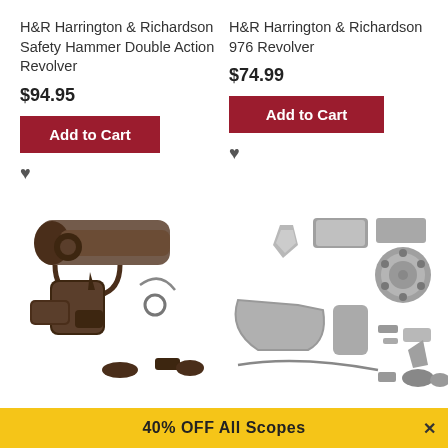H&R Harrington & Richardson Safety Hammer Double Action Revolver
$94.95
Add to Cart
H&R Harrington & Richardson 976 Revolver
$74.99
Add to Cart
[Figure (photo): Disassembled H&R revolver parts laid out on white background - left product]
[Figure (photo): Disassembled H&R 976 revolver parts laid out on white background - right product]
40% OFF All Scopes